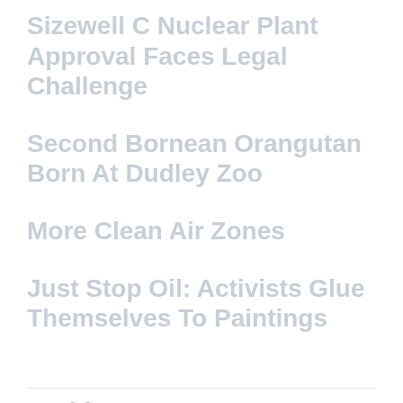Sizewell C Nuclear Plant Approval Faces Legal Challenge
Second Bornean Orangutan Born At Dudley Zoo
More Clean Air Zones
Just Stop Oil: Activists Glue Themselves To Paintings
Archive
Circular Economy
Climate Change
Energy
Environmental Monitoring